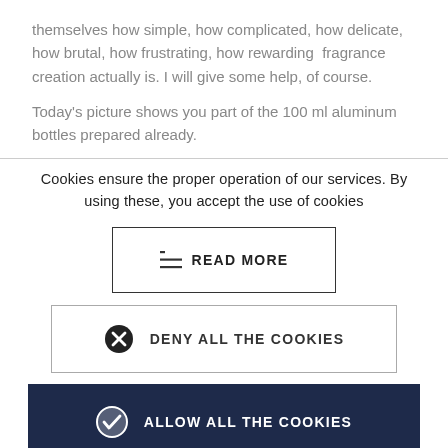themselves how simple, how complicated, how delicate, how brutal, how frustrating, how rewarding fragrance creation actually is. I will give some help, of course.
Today's picture shows you part of the 100 ml aluminum bottles prepared already.
Cookies ensure the proper operation of our services. By using these, you accept the use of cookies
READ MORE
DENY ALL THE COOKIES
ALLOW ALL THE COOKIES